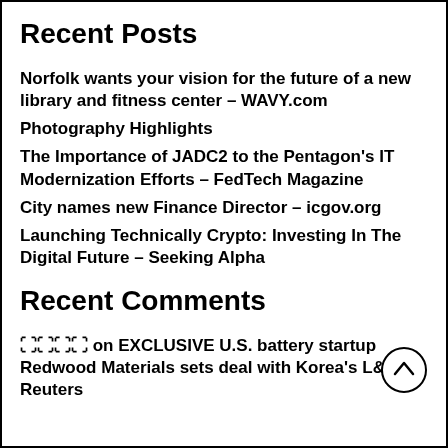Recent Posts
Norfolk wants your vision for the future of a new library and fitness center – WAVY.com
Photography Highlights
The Importance of JADC2 to the Pentagon's IT Modernization Efforts – FedTech Magazine
City names new Finance Director – icgov.org
Launching Technically Crypto: Investing In The Digital Future – Seeking Alpha
Recent Comments
🔲🔲🔲🔲 on EXCLUSIVE U.S. battery startup Redwood Materials sets deal with Korea's L&F – Reuters